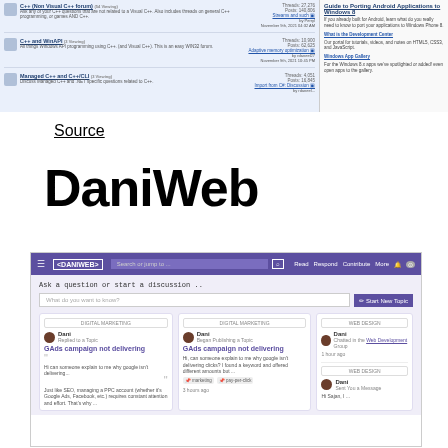[Figure (screenshot): Screenshot of a forum listing page showing thread rows with icons, titles, stats and a right sidebar with links]
Source
DaniWeb
[Figure (screenshot): Screenshot of the DaniWeb website showing the navigation bar with search, a discussion prompt area, and three content cards showing 'GAds campaign not delivering' posts]